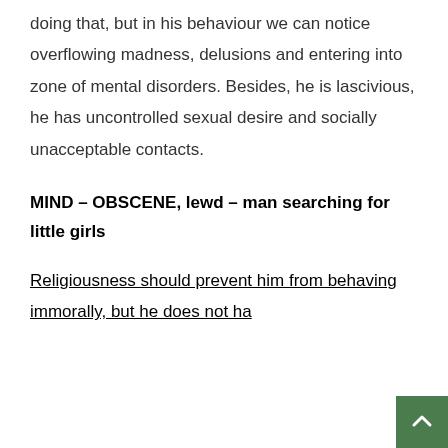doing that, but in his behaviour we can notice overflowing madness, delusions and entering into zone of mental disorders. Besides, he is lascivious, he has uncontrolled sexual desire and socially unacceptable contacts.
MIND – OBSCENE, lewd – man searching for little girls
Religiousness should prevent him from behaving immorally, but he does not ha